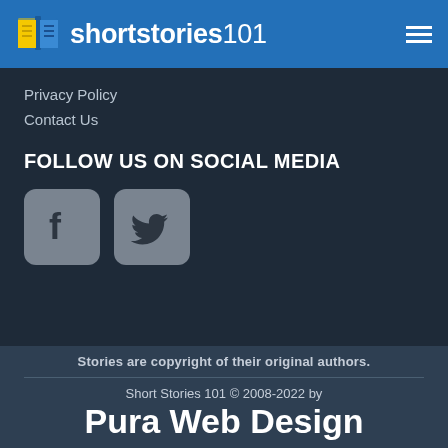shortstories101
Privacy Policy
Contact Us
FOLLOW US ON SOCIAL MEDIA
[Figure (illustration): Facebook and Twitter social media icon buttons with rounded corners on grey backgrounds]
Stories are copyright of their original authors.
Short Stories 101 © 2008-2022 by Pura Web Design